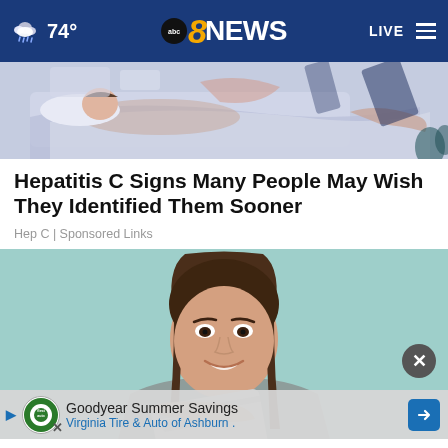74° abc8NEWS LIVE
[Figure (illustration): Top portion of an article illustration showing abstract figures of people resting, with muted blue, pink and dark blue colors on a light blue-grey background]
Hepatitis C Signs Many People May Wish They Identified Them Sooner
Hep C | Sponsored Links
[Figure (photo): Young woman with long dark brown hair smiling and holding a credit card against a teal/mint background]
Goodyear Summer Savings
Virginia Tire & Auto of Ashburn .